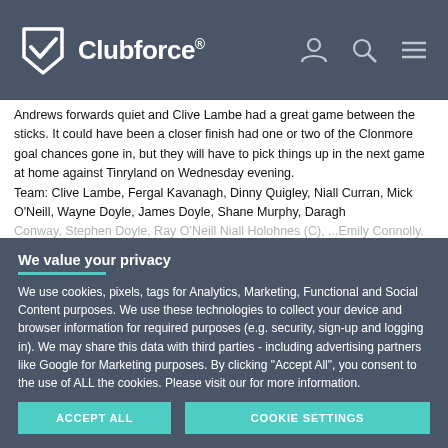Clubforce®
Andrews forwards quiet and Clive Lambe had a great game between the sticks. It could have been a closer finish had one or two of the Clonmore goal chances gone in, but they will have to pick things up in the next game at home against Tinryland on Wednesday evening.
Team: Clive Lambe, Fergal Kavanagh, Dinny Quigley, Niall Curran, Mick O'Neill, Wayne Doyle, James Doyle, Shane Murphy, Daragh Conway, Stephen Doyle, Ray O'Neill Niall Holohnes (C), ...Emily Connolly.
We value your privacy
We use cookies, pixels, tags for Analytics, Marketing, Functional and Social Content purposes. We use these technologies to collect your device and browser information for required purposes (e.g. security, sign-up and logging in). We may share this data with third parties - including advertising partners like Google for Marketing purposes. By clicking "Accept All", you consent to the use of ALL the cookies. Please visit our for more information.
ACCEPT ALL
COOKIE SETTINGS